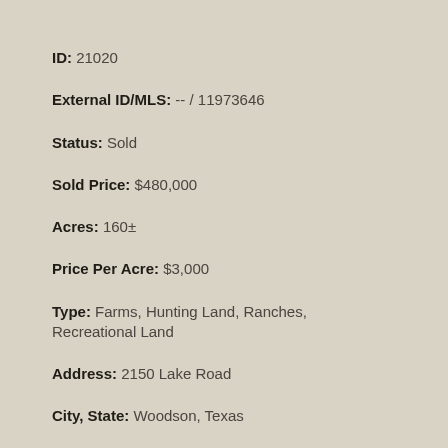ID: 21020
External ID/MLS: -- / 11973646
Status: Sold
Sold Price: $480,000
Acres: 160±
Price Per Acre: $3,000
Type: Farms, Hunting Land, Ranches, Recreational Land
Address: 2150 Lake Road
City, State: Woodson, Texas
County: Throckmorton